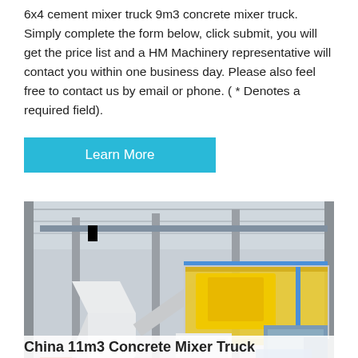6x4 cement mixer truck 9m3 concrete mixer truck. Simply complete the form below, click submit, you will get the price list and a HM Machinery representative will contact you within one business day. Please also feel free to contact us by email or phone. ( * Denotes a required field).
[Figure (other): A cyan/blue 'Learn More' button]
[Figure (photo): Interior of an industrial factory showing large white metal structures, yellow painted elevated platform with machinery, blue piping, and grey structural columns under a high roof. Construction/heavy machinery manufacturing plant.]
China 11m3 Concrete Mixer Truck